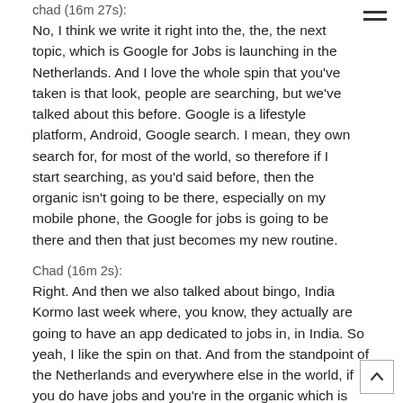chad (16m 27s): No, I think we write it right into the, the, the next topic, which is Google for Jobs is launching in the Netherlands. And I love the whole spin that you've taken is that look, people are searching, but we've talked about this before. Google is a lifestyle platform, Android, Google search. I mean, they own search for, for most of the world, so therefore if I start searching, as you'd said before, then the organic isn't going to be there, especially on my mobile phone, the Google for jobs is going to be there and then that just becomes my new routine.
Chad (16m 2s): Right. And then we also talked about bingo, India Kormo last week where, you know, they actually are going to have an app dedicated to jobs in, in India. So yeah, I like the spin on that. And from the standpoint of the Netherlands and everywhere else in the world, if you do have jobs and you're in the organic which is below Google for Jobs, you're already